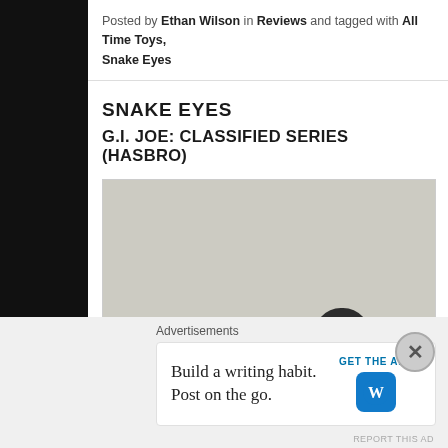Posted by Ethan Wilson in Reviews and tagged with All Time Toys, Snake Eyes
SNAKE EYES
G.I. JOE: CLASSIFIED SERIES (HASBRO)
[Figure (photo): Photo of Snake Eyes G.I. Joe Classified Series action figure — dark/black figure shown from chest down with helmet head and gloved hand visible against light gray background]
Advertisements
Build a writing habit. Post on the go. GET THE APP [WordPress logo]
REPORT THIS AD